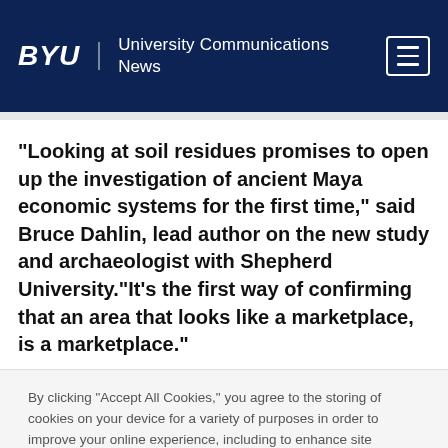BYU | University Communications News
"Looking at soil residues promises to open up the investigation of ancient Maya economic systems for the first time," said Bruce Dahlin, lead author on the new study and archaeologist with Shepherd University."It's the first way of confirming that an area that looks like a marketplace, is a marketplace."
By clicking “Accept All Cookies,” you agree to the storing of cookies on your device for a variety of purposes in order to improve your online experience, including to enhance site navigation, analyze site usage, and assist in our efforts to remember important information that will make your future use of our sites more convenient.